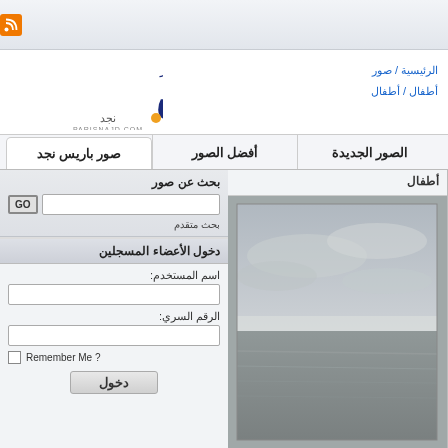RSS icon header bar
[Figure (logo): Paris Najd (بارِـس نجد) website logo with Arabic text and URL parisnajd.com]
الرئيسية / صور / أطفال / أطفال
الصور الجديدة   أفضل الصور   صور باريس نجد
أطفال
[Figure (photo): Seascape/beach photo with cloudy sky and ocean waves in grey tones]
بحث عن صور
GO
بحث متقدم
دخول الأعضاء المسجلين
اسم المستخدم:
الرقم السري:
Remember Me ?
دخول